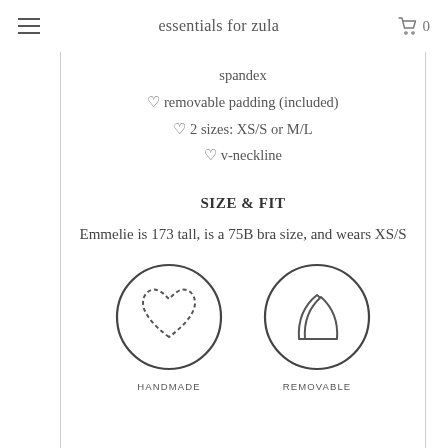essentials for zula
spandex
♡ removable padding (included)
♡ 2 sizes: XS/S or M/L
♡ v-neckline
SIZE & FIT
Emmelie is 173 tall, is a 75B bra size, and wears XS/S
[Figure (illustration): Circle icon with a dashed heart outline inside — HANDMADE icon]
HANDMADE
[Figure (illustration): Circle icon with two overlapping triangle/pad shapes inside — REMOVABLE icon]
REMOVABLE